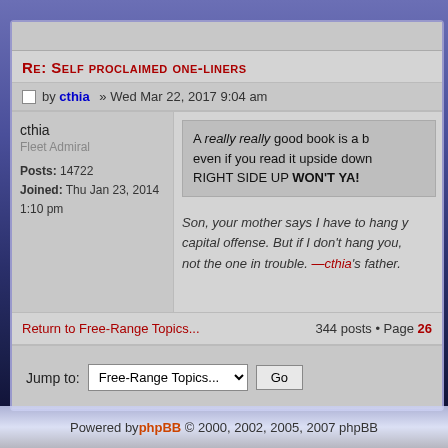Re: Self proclaimed one-liners
by cthia » Wed Mar 22, 2017 9:04 am
cthia
Fleet Admiral
Posts: 14722
Joined: Thu Jan 23, 2014 1:10 pm
A really really good book is a b even if you read it upside down RIGHT SIDE UP WON'T YA!
Son, your mother says I have to hang y capital offense. But if I don't hang you, not the one in trouble. —cthia's father.
Return to Free-Range Topics...
344 posts • Page 26
Jump to: Free-Range Topics... Go
Powered by phpBB © 2000, 2002, 2005, 2007 phpBB